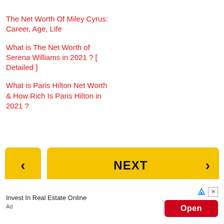The Net Worth Of Miley Cyrus: Career, Age, Life
What is The Net Worth of Serena Williams in 2021 ? [ Detailed ]
What is Paris Hilton Net Worth & How Rich Is Paris Hilton in 2021 ?
[Figure (other): Navigation buttons: a yellow back arrow button on the left and a yellow NEXT button with right arrow on the right]
[Figure (other): Advertisement banner: 'Invest In Real Estate Online' text with a red Open button and ad icons]